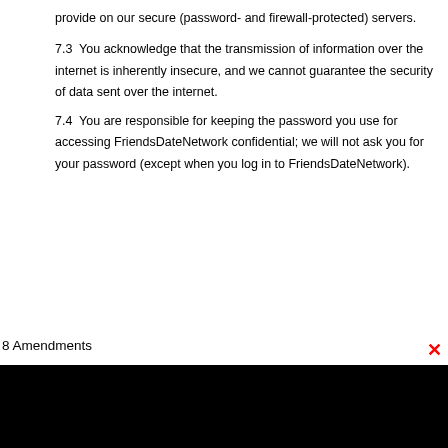provide on our secure (password- and firewall-protected) servers.
7.3  You acknowledge that the transmission of information over the internet is inherently insecure, and we cannot guarantee the security of data sent over the internet.
7.4  You are responsible for keeping the password you use for accessing FriendsDateNetwork confidential; we will not ask you for your password (except when you log in to FriendsDateNetwork).
8 Amendments